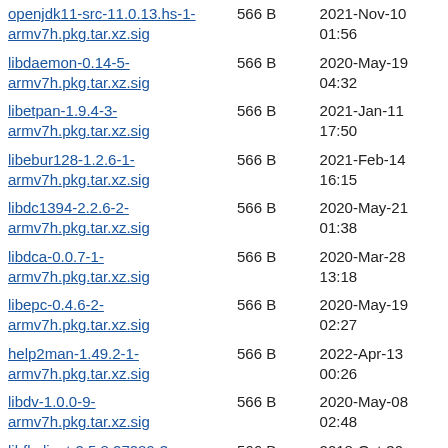| Name | Size | Date |
| --- | --- | --- |
| openjdk11-src-11.0.13.hs-1-armv7h.pkg.tar.xz.sig | 566 B | 2021-Nov-10 01:56 |
| libdaemon-0.14-5-armv7h.pkg.tar.xz.sig | 566 B | 2020-May-19 04:32 |
| libetpan-1.9.4-3-armv7h.pkg.tar.xz.sig | 566 B | 2021-Jan-11 17:50 |
| libebur128-1.2.6-1-armv7h.pkg.tar.xz.sig | 566 B | 2021-Feb-14 16:15 |
| libdc1394-2.2.6-2-armv7h.pkg.tar.xz.sig | 566 B | 2020-May-21 01:38 |
| libdca-0.0.7-1-armv7h.pkg.tar.xz.sig | 566 B | 2020-Mar-28 13:18 |
| libepc-0.4.6-2-armv7h.pkg.tar.xz.sig | 566 B | 2020-May-19 02:27 |
| help2man-1.49.2-1-armv7h.pkg.tar.xz.sig | 566 B | 2022-Apr-13 00:26 |
| libdv-1.0.0-9-armv7h.pkg.tar.xz.sig | 566 B | 2020-May-08 02:48 |
| libfbclient-2.5.8.27089-3-armv7h.pkg.tar.xz.sig | 566 B | 2018-Oct-30 01:16 |
| libdvbpsi-1:1.3.3-2-armv7h.pkg.tar.xz.sig | 566 B | 2020-May-21 02:02 |
| xfconf-4.16.0-2- | 566 B | 2021-Jun-03 |